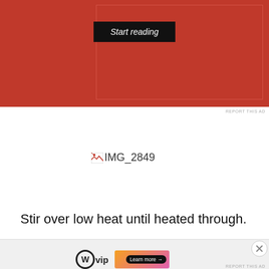[Figure (other): Red advertisement banner with 'Start reading' dark button on a crimson background with inner border box]
REPORT THIS AD
[Figure (other): Broken image placeholder with filename IMG_2849]
Stir over low heat until heated through.
Advertisements
[Figure (logo): WordPress VIP logo and gradient advertisement banner with Learn more button]
REPORT THIS AD